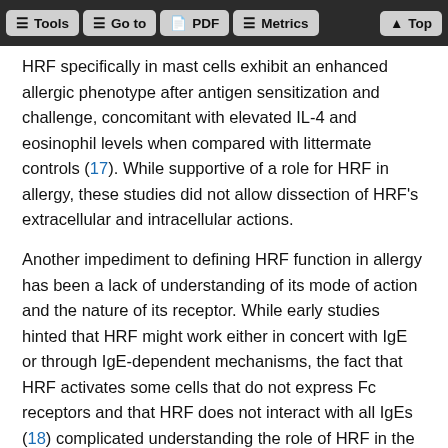Tools | Go to | PDF | Metrics | Top
HRF specifically in mast cells exhibit an enhanced allergic phenotype after antigen sensitization and challenge, concomitant with elevated IL-4 and eosinophil levels when compared with littermate controls (17). While supportive of a role for HRF in allergy, these studies did not allow dissection of HRF’s extracellular and intracellular actions.
Another impediment to defining HRF function in allergy has been a lack of understanding of its mode of action and the nature of its receptor. While early studies hinted that HRF might work either in concert with IgE or through IgE-dependent mechanisms, the fact that HRF activates some cells that do not express Fc receptors and that HRF does not interact with all IgEs (18) complicated understanding the role of HRF in the context of allergic inflammation. In